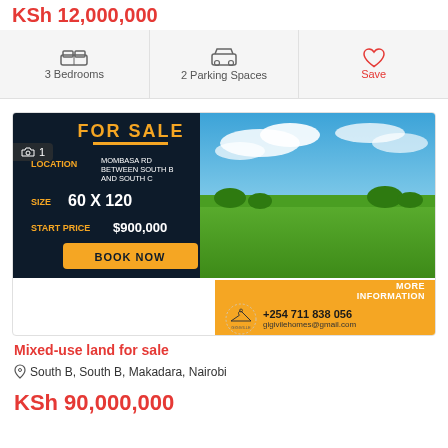KSh 12,000,000
|  |  |  |
| --- | --- | --- |
| 3 Bedrooms | 2 Parking Spaces | Save |
[Figure (photo): Real estate listing composite image showing a dark navy 'FOR SALE' advertisement panel with location Mombasa Rd Between South B and South C, size 60 x 120, start price $900,000 and Book Now button; alongside a landscape photo of green fields and blue sky. Below is an orange contact info panel with Gigiville logo, phone +254 711 838 056 and email gigivilehomes@gmail.com]
Mixed-use land for sale
South B, South B, Makadara, Nairobi
KSh 90,000,000